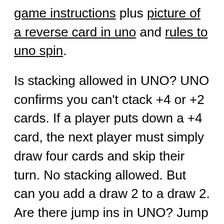game instructions plus picture of a reverse card in uno and rules to uno spin.
Is stacking allowed in UNO? UNO confirms you can't ctack +4 or +2 cards. If a player puts down a +4 card, the next player must simply draw four cards and skip their turn. No stacking allowed. But can you add a draw 2 to a draw 2. Are there jump ins in UNO? Jump in rules; if a player has two of the exact same cards that are the same colour, number, or symbol, the player can say jump in. When they jump in they can play both same cards